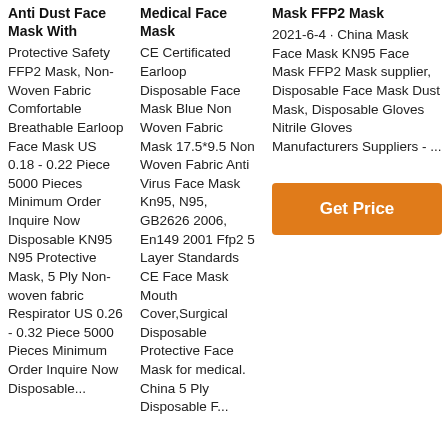Anti Dust Face Mask With
Protective Safety FFP2 Mask, Non-Woven Fabric Comfortable Breathable Earloop Face Mask US 0.18 - 0.22 Piece 5000 Pieces Minimum Order Inquire Now Disposable KN95 N95 Protective Mask, 5 Ply Non-woven fabric Respirator US 0.26 - 0.32 Piece 5000 Pieces Minimum Order Inquire Now Disposable...
Medical Face Mask
CE Certificated Earloop Disposable Face Mask Blue Non Woven Fabric Mask 17.5*9.5 Non Woven Fabric Anti Virus Face Mask Kn95, N95, GB2626 2006, En149 2001 Ffp2 5 Layer Standards CE Face Mask Mouth Cover,Surgical Disposable Protective Face Mask for medical. China 5 Ply Disposable...
Mask FFP2 Mask
2021-6-4 · China Mask Face Mask KN95 Face Mask FFP2 Mask supplier, Disposable Face Mask Dust Mask, Disposable Gloves Nitrile Gloves Manufacturers Suppliers - ...
[Figure (other): Orange 'Get Price' button]